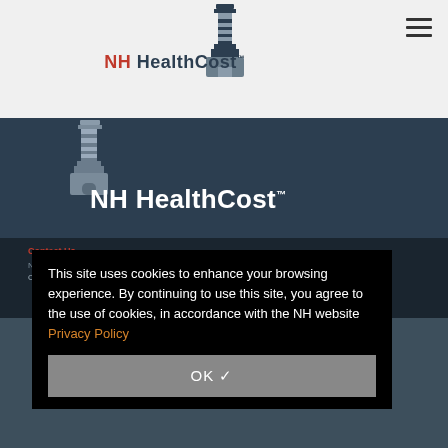[Figure (logo): NH HealthCost lighthouse logo in header on light gray background]
[Figure (logo): NH HealthCost lighthouse logo on dark blue banner background]
Contact Us
This site uses cookies to enhance your browsing experience. By continuing to use this site, you agree to the use of cookies, in accordance with the NH website Privacy Policy
OK ✓